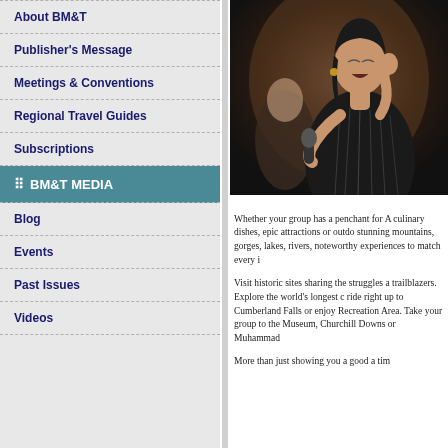About BM&T
Publisher's Message
Meetings & Conventions
Regional Travel Guides
Subscriptions
BM&T MEDIA
Blog
Events
Past Issues
Videos
[Figure (photo): A woman in a black sequined dress singing into a microphone, with another person visible in the background.]
Whether your group has a penchant for A culinary dishes, epic attractions or outdo stunning mountains, gorges, lakes, rivers, noteworthy experiences to match every i
Visit historic sites sharing the struggles a trailblazers. Explore the world's longest c ride right up to Cumberland Falls or enjoy Recreation Area. Take your group to the Museum, Churchill Downs or Muhammad
More than just showing you a good a tim